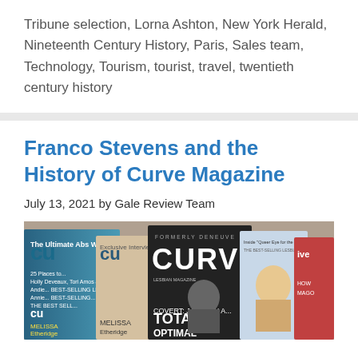Tribune selection, Lorna Ashton, New York Herald, Nineteenth Century History, Paris, Sales team, Technology, Tourism, tourist, travel, twentieth century history
Franco Stevens and the History of Curve Magazine
July 13, 2021 by Gale Review Team
[Figure (photo): Collage of multiple Curve magazine covers showing various issues with text including 'CURVE', 'MELISSA Etheridge', 'TOTAL', 'FORMERLY DENEUVE', and text about 'Queer Eye for the Straight Girl', 'THE BEST-SELLING LESBIAN MAGAZINE']